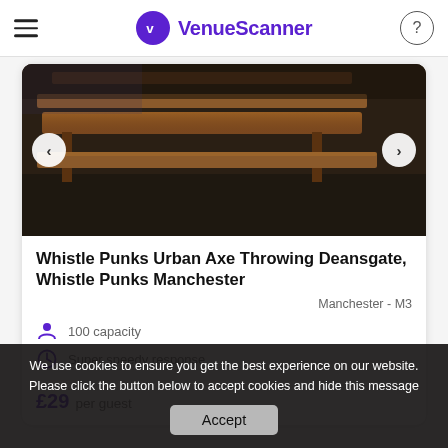VenueScanner
[Figure (photo): Interior photo of a venue with rustic wooden benches and tables on a dark floor, with carousel navigation arrows on left and right.]
Whistle Punks Urban Axe Throwing Deansgate, Whistle Punks Manchester
Manchester - M3
100 capacity
Super speedy response
£29 per guest
We use cookies to ensure you get the best experience on our website. Please click the button below to accept cookies and hide this message